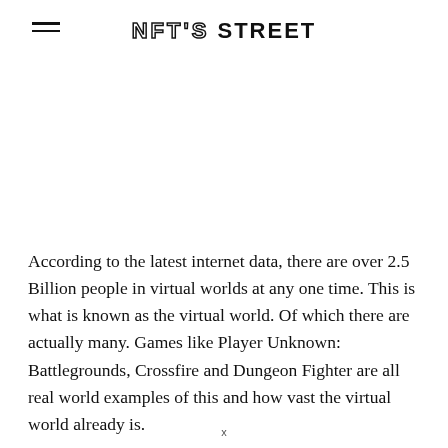NFT'S STREET
According to the latest internet data, there are over 2.5 Billion people in virtual worlds at any one time. This is what is known as the virtual world. Of which there are actually many. Games like Player Unknown: Battlegrounds, Crossfire and Dungeon Fighter are all real world examples of this and how vast the virtual world already is.
x